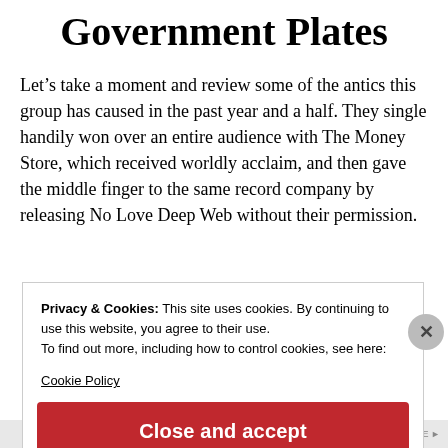Government Plates
Let’s take a moment and review some of the antics this group has caused in the past year and a half. They single handily won over an entire audience with The Money Store, which received worldly acclaim, and then gave the middle finger to the same record company by releasing No Love Deep Web without their permission.
Privacy & Cookies: This site uses cookies. By continuing to use this website, you agree to their use.
To find out more, including how to control cookies, see here:
Cookie Policy
Close and accept